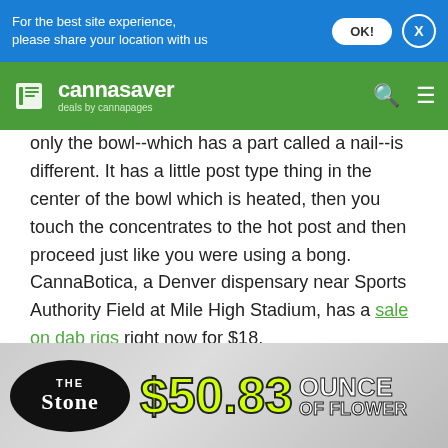For the best site experience, please share your location with us
[Figure (logo): Cannasaver logo with book icon, text 'cannasaver deals by cannapages' on green background with cannabis leaf design]
only the bowl--which has a part called a nail--is different. It has a little post type thing in the center of the bowl which is heated, then you touch the concentrates to the hot post and then proceed just like you were using a bong. CannaBotica, a Denver dispensary near Sports Authority Field at Mile High Stadium, has a sale on dab rigs right now for $18.
What is the Difference in BHO Concentrates vs Co2 Concentrates?
[Figure (photo): Advertisement for The Stone dispensary showing $50.83 ounce of flower deal on grey background with cannabis imagery]